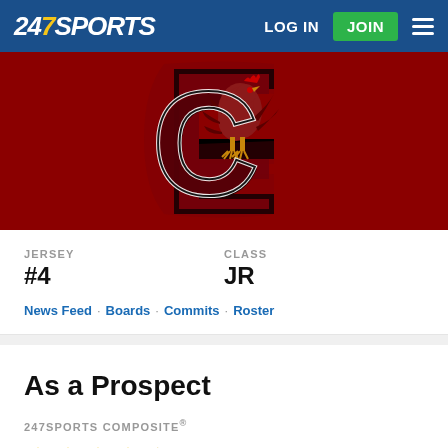247SPORTS | LOG IN | JOIN
[Figure (logo): South Carolina Gamecocks team logo on dark red/maroon background banner]
JERSEY
#4
CLASS
JR
News Feed · Boards · Commits · Roster
As a Prospect
247SPORTS COMPOSITE®
0.9808